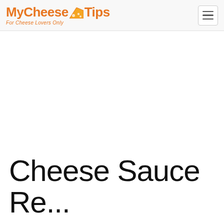MyCheeseTips - For Cheese Lovers Only
Cheese Sauce